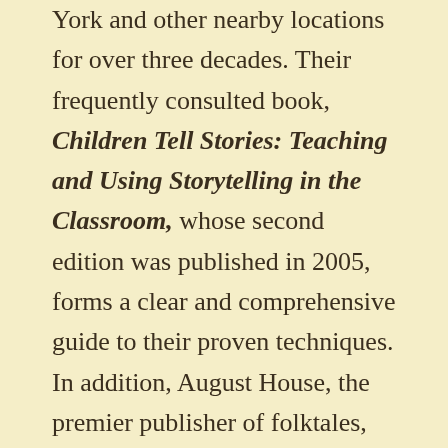York and other nearby locations for over three decades. Their frequently consulted book, Children Tell Stories: Teaching and Using Storytelling in the Classroom, whose second edition was published in 2005, forms a clear and comprehensive guide to their proven techniques. In addition, August House, the premier publisher of folktales, has produced six collections of folktales and many spelling